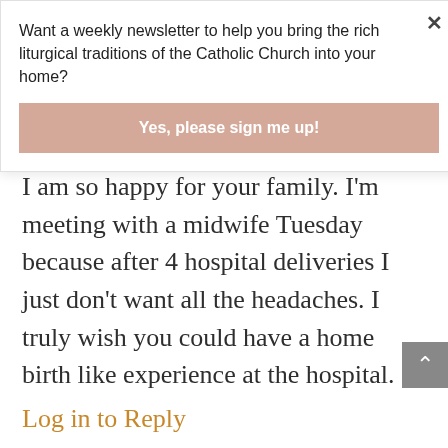Want a weekly newsletter to help you bring the rich liturgical traditions of the Catholic Church into your home?
Yes, please sign me up!
I am so happy for your family. I'm meeting with a midwife Tuesday because after 4 hospital deliveries I just don't want all the headaches. I truly wish you could have a home birth like experience at the hospital.
Log in to Reply